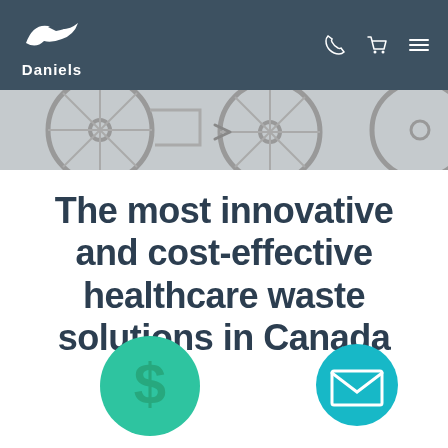Daniels
[Figure (photo): Cropped view of wheelchair wheels in grey tones]
The most innovative and cost-effective healthcare waste solutions in Canada
[Figure (illustration): Green circle with dollar sign icon]
[Figure (illustration): Teal circle with envelope/mail icon]